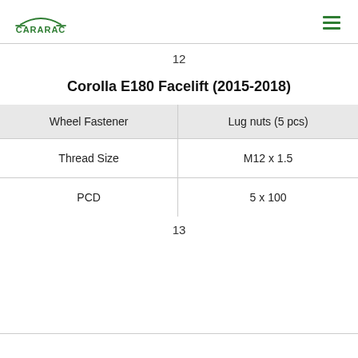CARARAC
12
Corolla E180 Facelift (2015-2018)
| Wheel Fastener | Lug nuts (5 pcs) |
| --- | --- |
| Thread Size | M12 x 1.5 |
| PCD | 5 x 100 |
13